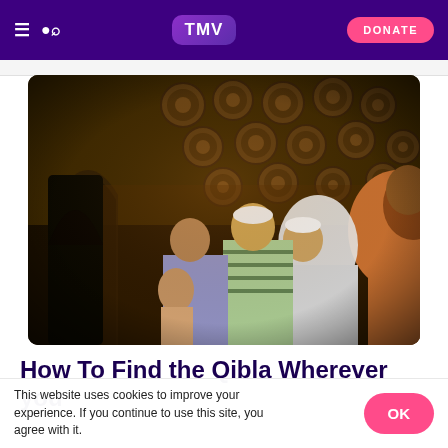TMV — Navigation bar with hamburger menu, search icon, TMV logo, and DONATE button
[Figure (photo): Group of Muslim men praying inside a mosque, standing in a row bowing their heads in prayer. The interior has stone arches and decorative circular wooden panels on the wall. Men of various ages are visible, some wearing traditional white kufi caps.]
How To Find the Qibla Wherever you
This website uses cookies to improve your experience. If you continue to use this site, you agree with it.